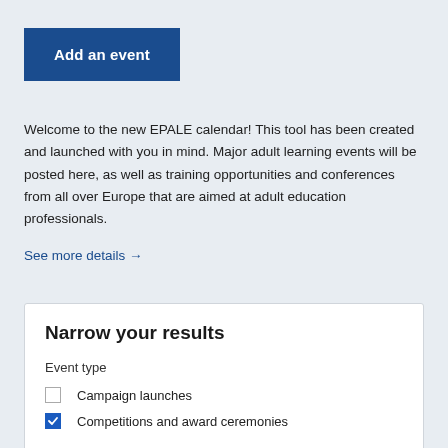Add an event
Welcome to the new EPALE calendar! This tool has been created and launched with you in mind. Major adult learning events will be posted here, as well as training opportunities and conferences from all over Europe that are aimed at adult education professionals.
See more details →
Narrow your results
Event type
Campaign launches
Competitions and award ceremonies